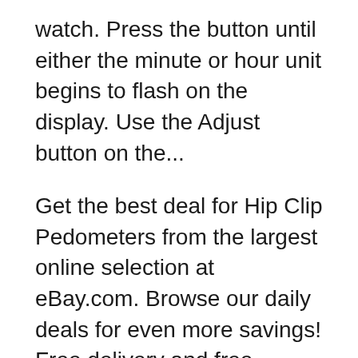watch. Press the button until either the minute or hour unit begins to flash on the display. Use the Adjust button on the...
Get the best deal for Hip Clip Pedometers from the largest online selection at eBay.com. Browse our daily deals for even more savings! Free delivery and free returns on eBay Plus items! 1/24/2013B B· Sportline 220 Stopwatch Features and Functions of the Sportline 220 Stopwatch time of day mode, timing in 1/100 seconds, cumulative splits, water resistant, shock resistant, easy change battery
SportsLine brings you premium real-time sports betting information, Las Vegas odds, picks and